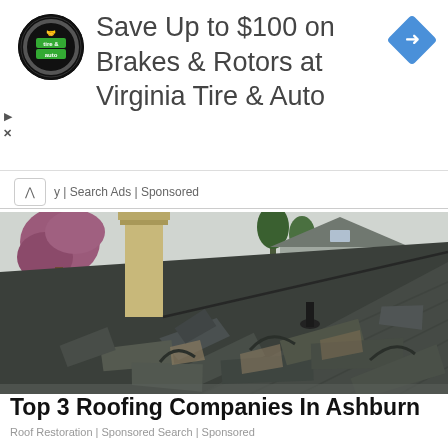[Figure (screenshot): Advertisement banner for Virginia Tire & Auto showing circular logo, headline text, and blue diamond navigation icon]
y | Search Ads | Sponsored
[Figure (photo): Damaged roof with broken and peeling asphalt shingles, chimney visible, trees and neighboring house in background]
Top 3 Roofing Companies In Ashburn
Roof Restoration | Sponsored Search | Sponsored